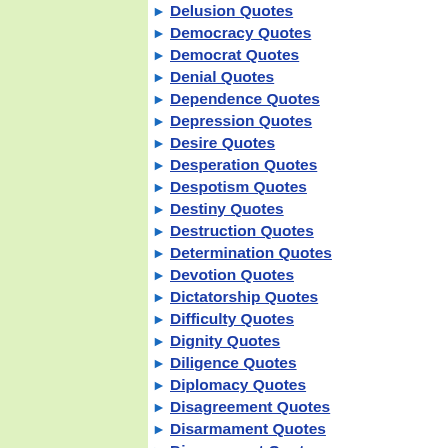Delusion Quotes
Democracy Quotes
Democrat Quotes
Denial Quotes
Dependence Quotes
Depression Quotes
Desire Quotes
Desperation Quotes
Despotism Quotes
Destiny Quotes
Destruction Quotes
Determination Quotes
Devotion Quotes
Dictatorship Quotes
Difficulty Quotes
Dignity Quotes
Diligence Quotes
Diplomacy Quotes
Disagreement Quotes
Disarmament Quotes
Discernment Quotes